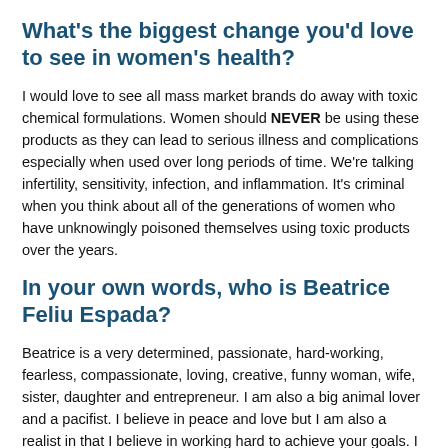What's the biggest change you'd love to see in women's health?
I would love to see all mass market brands do away with toxic chemical formulations. Women should NEVER be using these products as they can lead to serious illness and complications especially when used over long periods of time. We're talking infertility, sensitivity, infection, and inflammation. It's criminal when you think about all of the generations of women who have unknowingly poisoned themselves using toxic products over the years.
In your own words, who is Beatrice Feliu Espada?
Beatrice is a very determined, passionate, hard-working, fearless, compassionate, loving, creative, funny woman, wife, sister, daughter and entrepreneur. I am also a big animal lover and a pacifist. I believe in peace and love but I am also a realist in that I believe in working hard to achieve your goals. I want to see everyone around me prosper and I love paying it forward. Life is a blessing and I am thankful to have every moment of every day!